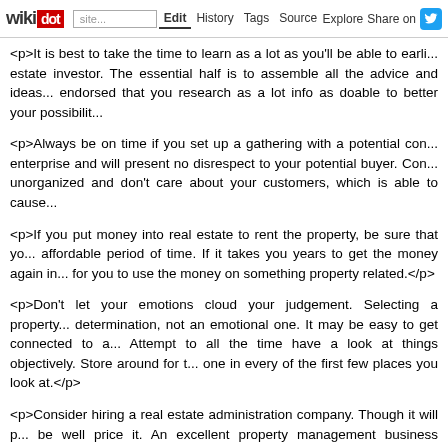wikidot | site Edit History Tags Source Explore Share on
<p>It is best to take the time to learn as a lot as you'll be able to earl... estate investor. The essential half is to assemble all the advice and ideas... endorsed that you research as a lot info as doable to better your possibilit...
<p>Always be on time if you set up a gathering with a potential con... enterprise and will present no disrespect to your potential buyer. Con... unorganized and don't care about your customers, which is able to cause...
<p>If you put money into real estate to rent the property, be sure that yo... affordable period of time. If it takes you years to get the money again in... for you to use the money on something property related.</p>
<p>Don't let your emotions cloud your judgement. Selecting a property... determination, not an emotional one. It may be easy to get connected to a... Attempt to all the time have a look at things objectively. Store around for t... one in every of the first few places you look at.</p>
<p>Consider hiring a real estate administration company. Though it will p... be well price it. An excellent property management business screens yo... issues. What It is advisable Learn When it comes to Investing gives you e... </p>
<p>Avoid properties with prices that appear inflated or depressed. If you... unlikely to make a superb revenue. If you buy a property on a budget, yo... of cash into it to get it as much as snuff. You are better off searching for p... in fairly good situation.</p>
<p>Do not jump into real property investment whereas you're still wet be... within the business and study from their expertise. Be a part of actual pr...